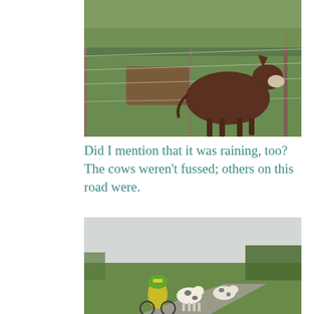[Figure (photo): A brown donkey standing behind a wire fence on a grassy field. The animal faces right. Background shows green grass and a muddy patch.]
Did I mention that it was raining, too? The cows weren't fussed; others on this road were.
[Figure (photo): A cyclist wearing a green and yellow helmet and yellow jacket on a rural road, with a herd of black and white spotted cows on the road. Overcast sky and green fields with trees in background.]